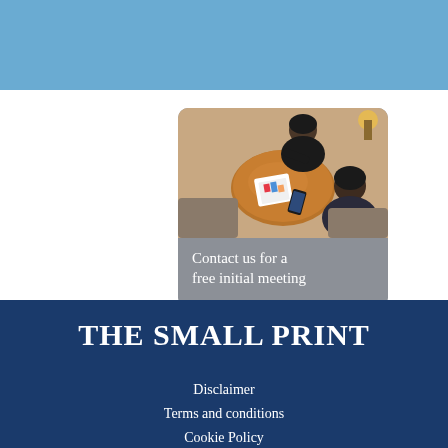[Figure (photo): Overhead view of two people having a meeting at a round wooden table with documents and a phone]
Contact us for a free initial meeting
THE SMALL PRINT
Disclaimer
Terms and conditions
Cookie Policy